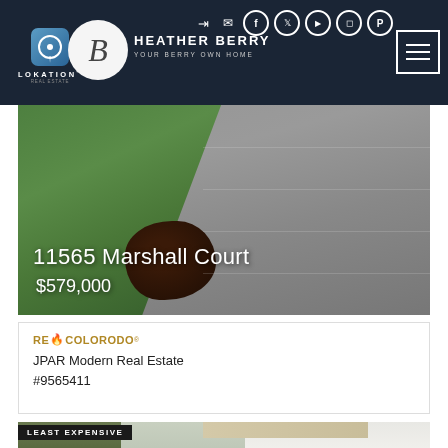Heather Berry | Your Berry Own Home | Lokation Real Estate
[Figure (photo): Aerial/ground view of 11565 Marshall Court showing green lawn and concrete paver driveway]
11565 Marshall Court
$579,000
RE Colorado
JPAR Modern Real Estate
#9565411
[Figure (photo): Exterior photo of a house showing siding, gutter, and trees with a LEAST EXPENSIVE badge overlay]